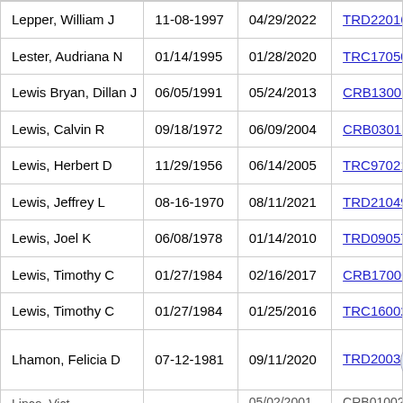| Name | DOB | Date | Case |
| --- | --- | --- | --- |
| Lepper, William J | 11-08-1997 | 04/29/2022 | TRD2201669 |
| Lester, Audriana N | 01/14/1995 | 01/28/2020 | TRC1705043 |
| Lewis Bryan, Dillan J | 06/05/1991 | 05/24/2013 | CRB1300603 |
| Lewis, Calvin R | 09/18/1972 | 06/09/2004 | CRB0301864 |
| Lewis, Herbert D | 11/29/1956 | 06/14/2005 | TRC9702154 |
| Lewis, Jeffrey L | 08-16-1970 | 08/11/2021 | TRD2104914 |
| Lewis, Joel K | 06/08/1978 | 01/14/2010 | TRD0905768 |
| Lewis, Timothy C | 01/27/1984 | 02/16/2017 | CRB1700048 |
| Lewis, Timothy C | 01/27/1984 | 01/25/2016 | TRC1600288 |
| Lhamon, Felicia D | 07-12-1981 | 09/11/2020 | TRD2003… |
| Linco, Vict… | 05/02/2001 | CRB0100270 |